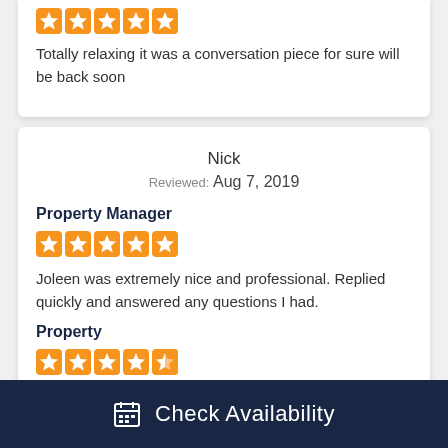[Figure (other): 5 orange star rating icons (partial top card)]
Totally relaxing it was a conversation piece for sure will be back soon
Nick
Reviewed: Aug 7, 2019
Property Manager
[Figure (other): 5 orange star rating icons]
Joleen was extremely nice and professional. Replied quickly and answered any questions I had.
Property
[Figure (other): 5 orange star rating icons (4 full, 1 partial)]
Cabin was exactly as described and looked just like the
Check Availability